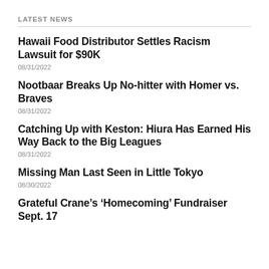LATEST NEWS
Hawaii Food Distributor Settles Racism Lawsuit for $90K
08/31/2022
Nootbaar Breaks Up No-hitter with Homer vs. Braves
08/31/2022
Catching Up with Keston: Hiura Has Earned His Way Back to the Big Leagues
08/31/2022
Missing Man Last Seen in Little Tokyo
08/30/2022
Grateful Crane’s ‘Homecoming’ Fundraiser Sept. 17